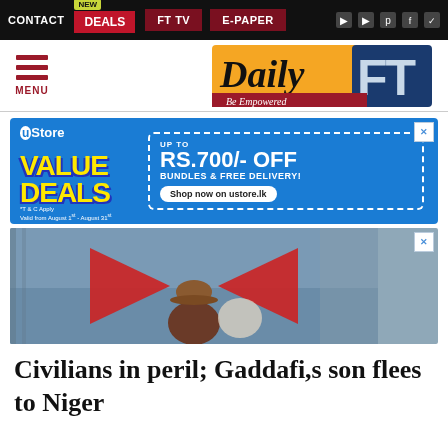CONTACT  NEW  DEALS  FT TV  E-PAPER
[Figure (logo): Daily FT - Be Empowered newspaper logo with orange and blue design]
[Figure (infographic): uStore VALUE DEALS advertisement - UP TO RS.700/- OFF BUNDLES & FREE DELIVERY! Shop now on ustore.lk]
[Figure (photo): Person wearing a straw hat viewed from behind, with two red triangular shapes flanking them, HSBC-style imagery]
Civilians in peril; Gaddafi,s son flees to Niger